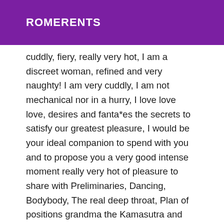ROMERENTS
cuddly, fiery, really very hot, I am a discreet woman, refined and very naughty! I am very cuddly, I am not mechanical nor in a hurry, I love love love, desires and fanta*es the secrets to satisfy our greatest pleasure, I would be your ideal companion to spend with you and to propose you a very good intense moment really very hot of pleasure to share with Preliminaries, Dancing, Bodybody, The real deep throat, Plan of positions grandma the Kamasutra and also possible the "SOD" if you like and unforgettable massages with essential oils. If you are looking for a really tender, naughty and warm moment of intimate exchanges to relax, I am the right woman for you. MY PHOTOS ARE 100% REAL!!! IS IT POSSIBLE a Lesbian Show with a naughty girlfriend and sexy striptease massage a 4 butn suck a 2. At my home in a private apartment very discreet and clean, I can also move in the clubs libertines or in hotels. Call me, I receive from 09H00 in the morning to 23H00. BISOUS